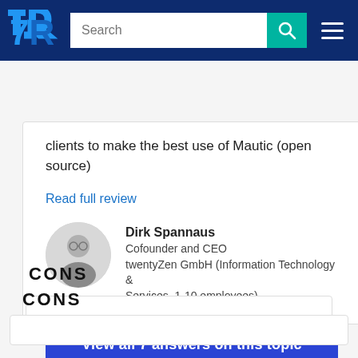TrustRadius navigation bar with logo, search, and menu
clients to make the best use of Mautic (open source)
Read full review
Dirk Spannaus
Cofounder and CEO
twentyZen GmbH (Information Technology & Services, 1-10 employees)
View all 7 answers on this topic
CONS